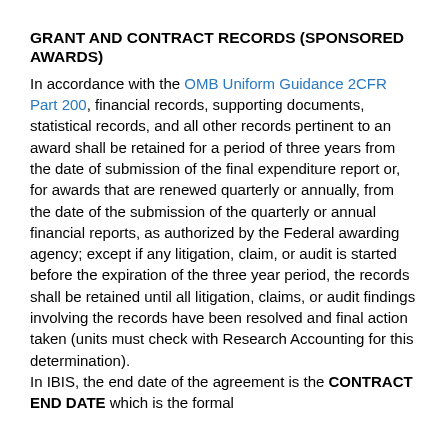GRANT AND CONTRACT RECORDS (SPONSORED AWARDS)
In accordance with the OMB Uniform Guidance 2CFR Part 200, financial records, supporting documents, statistical records, and all other records pertinent to an award shall be retained for a period of three years from the date of submission of the final expenditure report or, for awards that are renewed quarterly or annually, from the date of the submission of the quarterly or annual financial reports, as authorized by the Federal awarding agency; except if any litigation, claim, or audit is started before the expiration of the three year period, the records shall be retained until all litigation, claims, or audit findings involving the records have been resolved and final action taken (units must check with Research Accounting for this determination). In IBIS, the end date of the agreement is the CONTRACT END DATE which is the formal...